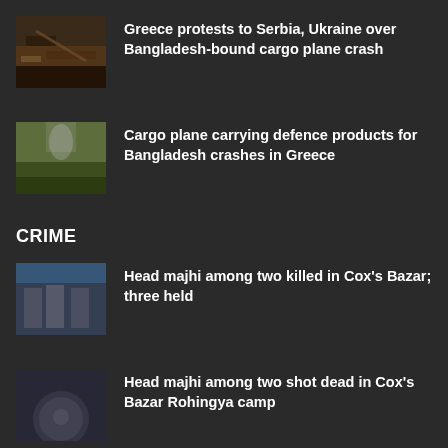[Figure (photo): Crashed cargo plane wreckage in vegetation]
Greece protests to Serbia, Ukraine over Bangladesh-bound cargo plane crash
[Figure (photo): Smoke rising from plane crash site in field]
Cargo plane carrying defence products for Bangladesh crashes in Greece
CRIME
[Figure (photo): Three people standing in front of a sign]
Head majhi among two killed in Cox's Bazar; three held
[Figure (photo): Partial person in black and white]
Head majhi among two shot dead in Cox's Bazar Rohingya camp